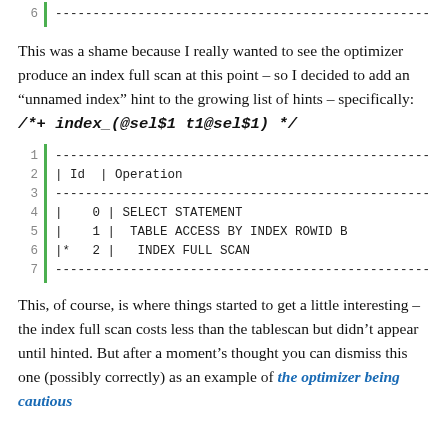[Figure (screenshot): Code/query plan block showing line 6 with dashed separator line]
This was a shame because I really wanted to see the optimizer produce an index full scan at this point – so I decided to add an "unnamed index" hint to the growing list of hints – specifically: /*+ index_(@sel$1 t1@sel$1) */
[Figure (screenshot): Query execution plan showing lines 1-7 with operations: SELECT STATEMENT, TABLE ACCESS BY INDEX ROWID B, INDEX FULL SCAN]
This, of course, is where things started to get a little interesting – the index full scan costs less than the tablescan but didn't appear until hinted. But after a moment's thought you can dismiss this one (possibly correctly) as an example of the optimizer being cautious